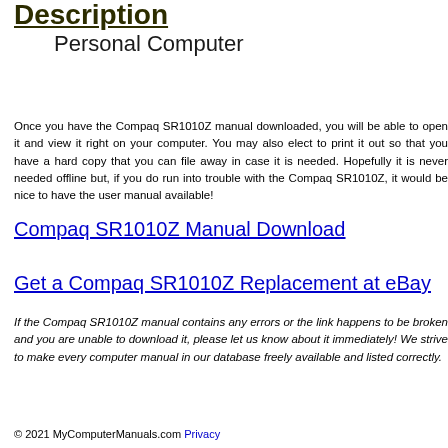Description
Personal Computer
Once you have the Compaq SR1010Z manual downloaded, you will be able to open it and view it right on your computer. You may also elect to print it out so that you have a hard copy that you can file away in case it is needed. Hopefully it is never needed offline but, if you do run into trouble with the Compaq SR1010Z, it would be nice to have the user manual available!
Compaq SR1010Z Manual Download
Get a Compaq SR1010Z Replacement at eBay
If the Compaq SR1010Z manual contains any errors or the link happens to be broken and you are unable to download it, please let us know about it immediately! We strive to make every computer manual in our database freely available and listed correctly.
© 2021 MyComputerManuals.com Privacy